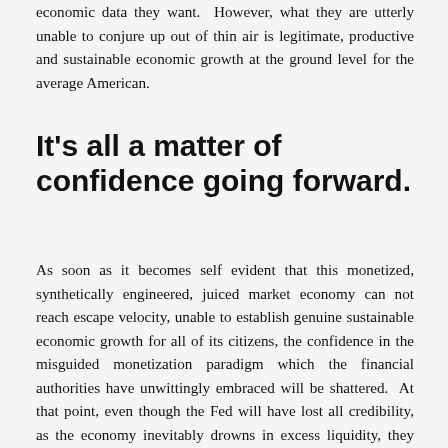economic data they want.  However, what they are utterly unable to conjure up out of thin air is legitimate, productive and sustainable economic growth at the ground level for the average American.
It's all a matter of confidence going forward.
As soon as it becomes self evident that this monetized, synthetically engineered, juiced market economy can not reach escape velocity, unable to establish genuine sustainable economic growth for all of its citizens, the confidence in the misguided monetization paradigm which the financial authorities have unwittingly embraced will be shattered.  At that point, even though the Fed will have lost all credibility, as the economy inevitably drowns in excess liquidity, they will nevertheless double down and once again try to re-monetize.  Let's face it, that's all they really know how to do, all they have been trained to do.